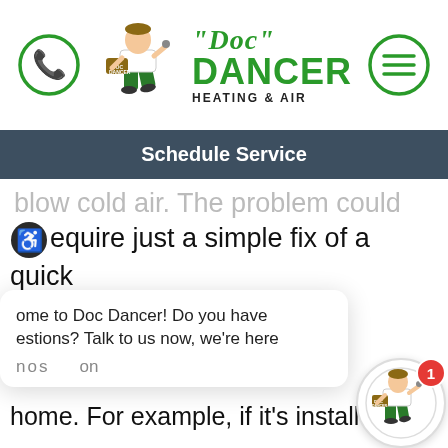[Figure (logo): Doc Dancer Heating & Air logo with mascot character, phone icon circle on left, hamburger menu icon circle on right]
Schedule Service
blow cold air. The problem could require just a simple fix of a quick setting change.
Welcome to Doc Dancer! Do you have questions? Talk to us now, we're here
home. For example, if it's installed